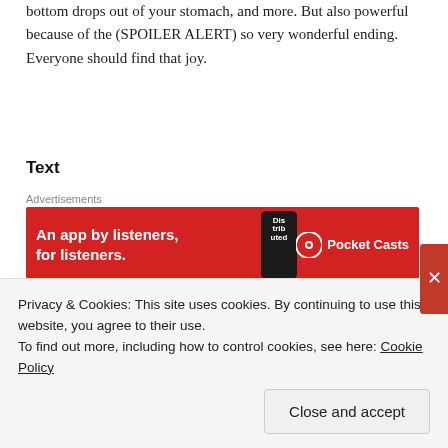bottom drops out of your stomach, and more. But also powerful because of the (SPOILER ALERT) so very wonderful ending. Everyone should find that joy.
Text
[Figure (other): Pocket Casts advertisement banner on red background. Text reads: 'An app by listeners, for listeners.' with Pocket Casts logo and a phone image showing 'Distributed' text. Labeled 'Advertisements' above and 'REPORT THIS AD' below.]
Make your Queer Science Manifesto
Privacy & Cookies: This site uses cookies. By continuing to use this website, you agree to their use.
To find out more, including how to control cookies, see here: Cookie Policy